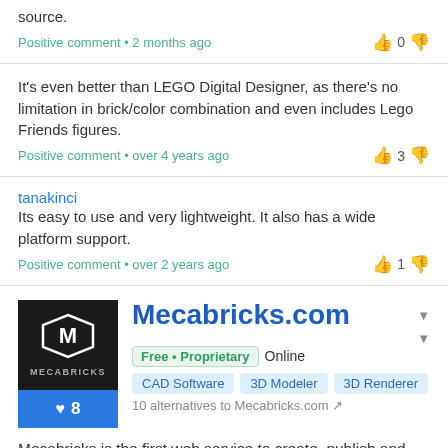source.
Positive comment • 2 months ago   👍 0 👎
It's even better than LEGO Digital Designer, as there's no limitation in brick/color combination and even includes Lego Friends figures.
Positive comment • over 4 years ago   👍 3 👎
tanakinci
Its easy to use and very lightweight. It also has a wide platform support.
Positive comment • over 2 years ago   👍 1 👎
Mecabricks.com
Free • Proprietary   Online
CAD Software   3D Modeler   3D Renderer
10 alternatives to Mecabricks.com
Mecabricks is the first web service to create, publish and display 3D models and 3D Renderings made with LEGO® bricks. No need to install any plugin, it simply works...